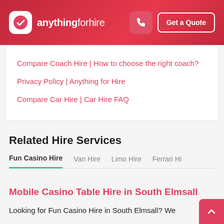anythingforhire | Get a Quote
Compare Coach Hire | How to choose the right coach?
Privacy Policy | Anything for Hire
Compare Car Hire | Car Hire FAQ
Related Hire Services
Fun Casino Hire   Van Hire   Limo Hire   Ferrari Hi
Mobile Casino Table Hire in South Elmsall
Looking for Fun Casino Hire in South Elmsall? We